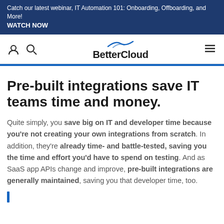Catch our latest webinar, IT Automation 101: Onboarding, Offboarding, and More!
WATCH NOW
[Figure (logo): BetterCloud logo with blue swoosh above the text]
Pre-built integrations save IT teams time and money.
Quite simply, you save big on IT and developer time because you’re not creating your own integrations from scratch. In addition, they’re already time- and battle-tested, saving you the time and effort you’d have to spend on testing. And as SaaS app APIs change and improve, pre-built integrations are generally maintained, saving you that developer time, too.